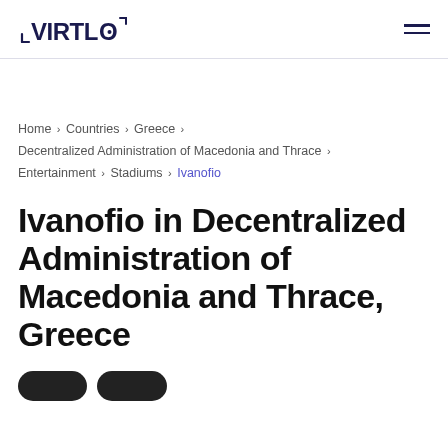VIRTLO
Home > Countries > Greece > Decentralized Administration of Macedonia and Thrace > Entertainment > Stadiums > Ivanofio
Ivanofio in Decentralized Administration of Macedonia and Thrace, Greece